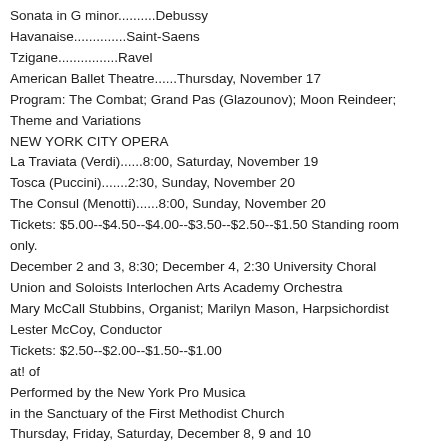Sonata in G minor..........Debussy
Havanaise..............Saint-Saens
Tzigane................Ravel
American Ballet Theatre......Thursday, November 17
Program: The Combat; Grand Pas (Glazounov); Moon Reindeer; Theme and Variations
NEW YORK CITY OPERA
La Traviata (Verdi)......8:00, Saturday, November 19
Tosca (Puccini).......2:30, Sunday, November 20
The Consul (Menotti)......8:00, Sunday, November 20
Tickets: $5.00--$4.50--$4.00--$3.50--$2.50--$1.50 Standing room only.
December 2 and 3, 8:30; December 4, 2:30 University Choral Union and Soloists Interlochen Arts Academy Orchestra
Mary McCall Stubbins, Organist; Marilyn Mason, Harpsichordist
Lester McCoy, Conductor
Tickets: $2.50--$2.00--$1.50--$1.00
at! of
Performed by the New York Pro Musica
in the Sanctuary of the First Methodist Church
Thursday, Friday, Saturday, December 8, 9 and 10
Tickets: Main Floor, $5.00 and $4.00; Balcony: $4.00; and ($3.00 seats, sold out)
CHAMBER MUSIC FESTIVAL